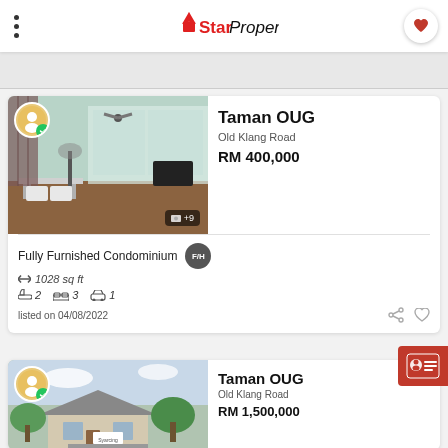StarProperty
Taman OUG
Old Klang Road
RM 400,000
Fully Furnished Condominium F/H
1028 sq ft
2 bedrooms 3 bathrooms 1 parking
listed on 04/08/2022
Taman OUG
Old Klang Road
RM 1,500,000